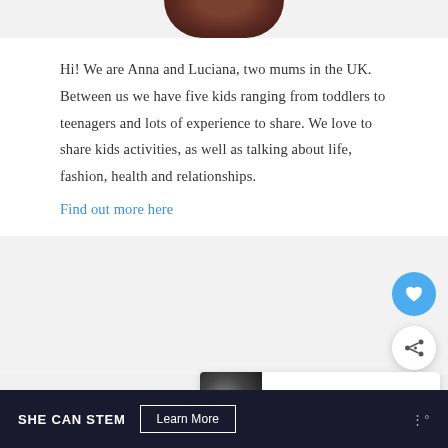[Figure (photo): Partial profile photo of a person, cropped at the bottom of the top strip]
Hi! We are Anna and Luciana, two mums in the UK. Between us we have five kids ranging from toddlers to teenagers and lots of experience to share. We love to share kids activities, as well as talking about life, fashion, health and relationships.
Find out more here
[Figure (other): Blue circular button with a heart/love icon]
[Figure (other): White circular button with a share icon]
[Figure (other): Next article card thumbnail image of a car]
WHAT'S NEXT → Best type of car finance...
ARCHIVES
[Figure (other): Bottom banner advertisement: SHE CAN STEM with Learn More button and W logo]